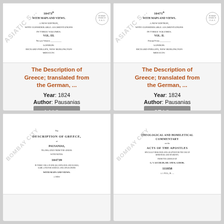[Figure (illustration): Book cover thumbnail for 'The Description of Greece' Vol. III, 1824, with Asiatic Society watermark and circular library stamp]
The Description of Greece; translated from the German, ...
Year: 1824
Author: Pausanias
14 Views
[Figure (illustration): Book cover thumbnail for 'The Description of Greece' Vol. II, 1824, with Asiatic Society watermark and Bombay Branch circular stamp]
The Description of Greece; translated from the German, ...
Year: 1824
Author: Pausanias
27 Views
[Figure (illustration): Book cover thumbnail for 'The Description of Greece' by Pausanias, with Bombay City watermark and accession number 104739]
[Figure (illustration): Book cover thumbnail for 'Theological and Homiletical Commentary on Acts of the Apostles' by G.V. Lechler and K. Gerok, with Bombay City watermark and accession number 111858]